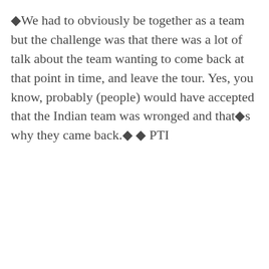◆We had to obviously be together as a team but the challenge was that there was a lot of talk about the team wanting to come back at that point in time, and leave the tour. Yes, you know, probably (people) would have accepted that the Indian team was wronged and that◆s why they came back.◆ ◆ PTI